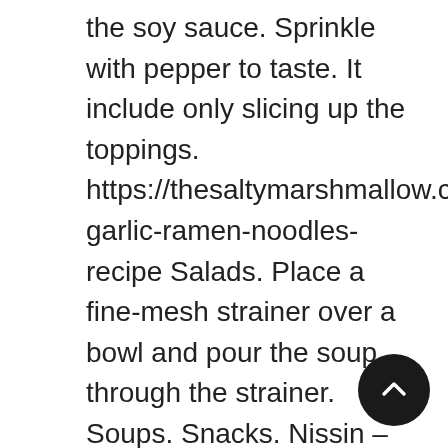the soy sauce. Sprinkle with pepper to taste. It include only slicing up the toppings. https://thesaltymarshmallow.com/sesame-garlic-ramen-noodles-recipe Salads. Place a fine-mesh strainer over a bowl and pour the soup through the strainer. Soups. Snacks. Nissin – Raoh Japanese Instant Ramen Noodles Soy Sauce, Homemade Ramen Broth Recipe – Rich Flavoured, Chashu: How to make melt in the mouth ramen pork, Extra Thick and Fluffy Japanese Style Pancakes, Strawberry Shortcake cake – Japanese version. Cup Noodles® Stir Fry™ By Type. https://www.yummly.com/recipes/ramen-noodles-with-soy-sauce It's time you put the bottle to use. While the noodle is being cooked, empty the seasoning packet and